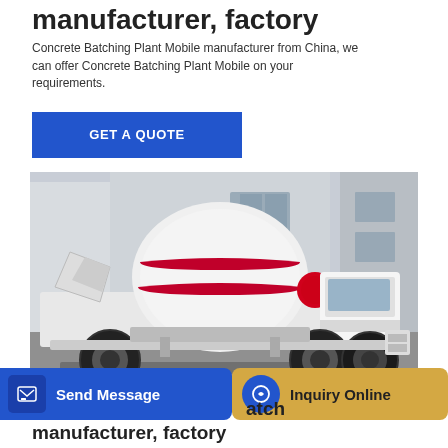manufacturer, factory
Concrete Batching Plant Mobile manufacturer from China, we can offer Concrete Batching Plant Mobile on your requirements.
GET A QUOTE
[Figure (photo): A white concrete mixer truck with red stripe markings on the drum, parked in front of a building. The truck has a large white cylindrical mixing drum mounted on a white chassis with large black tires.]
Send Message
Inquiry Online
manufacturer, factory